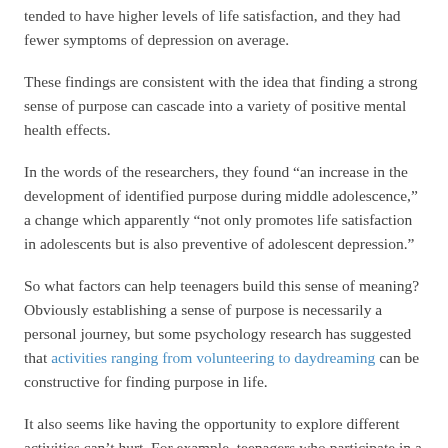tended to have higher levels of life satisfaction, and they had fewer symptoms of depression on average.
These findings are consistent with the idea that finding a strong sense of purpose can cascade into a variety of positive mental health effects.
In the words of the researchers, they found “an increase in the development of identified purpose during middle adolescence,” a change which apparently “not only promotes life satisfaction in adolescents but is also preventive of adolescent depression.”
So what factors can help teenagers build this sense of meaning? Obviously establishing a sense of purpose is necessarily a personal journey, but some psychology research has suggested that activities ranging from volunteering to daydreaming can be constructive for finding purpose in life.
It also seems like having the opportunity to explore different activities can’t hurt. For example, teenagers who participate in a greater number of certain activities like extracurricular classes, volunteering, and sports tend to be happier with their lives.
The big-picture takeaway of this study seems to be that adolescence is an important time for building a sense of purpose,